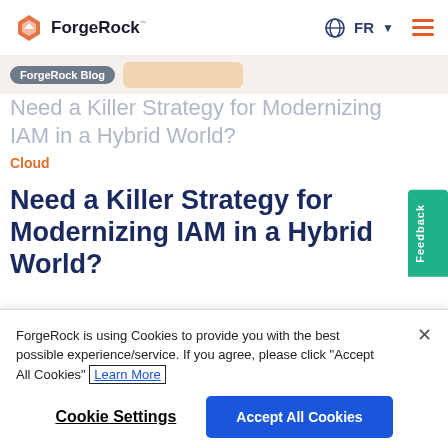ForgeRock | FR | menu
ForgeRock Blog
Need a Killer Strategy for Modernizing IAM in a Hybrid World?
Cloud
Need a Killer Strategy for Modernizing IAM in a Hybrid World?
Jessica Morrison : November 2, 2020
ForgeRock is using Cookies to provide you with the best possible experience/service. If you agree, please click "Accept All Cookies" Learn More
Cookie Settings
Accept All Cookies